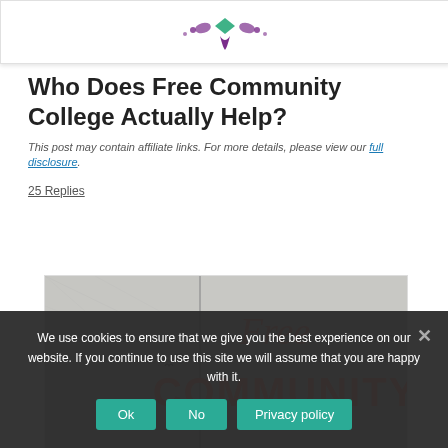[Figure (logo): Website logo with decorative purple and green flourish design]
Who Does Free Community College Actually Help?
This post may contain affiliate links. For more details, please view our full disclosure.
25 Replies
[Figure (illustration): Image with text reading 'Free COMMUNITY' in coral/salmon colored lettering over a textured grey background]
We use cookies to ensure that we give you the best experience on our website. If you continue to use this site we will assume that you are happy with it.